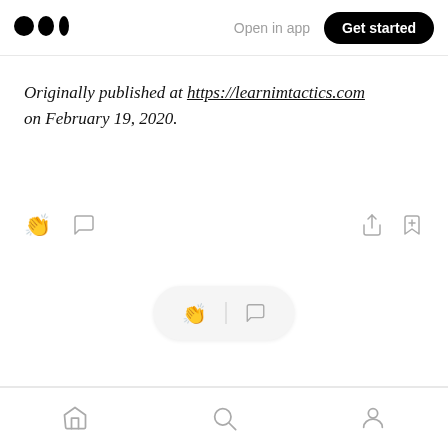Medium logo | Open in app | Get started
Originally published at https://learnimtactics.com on February 19, 2020.
[Figure (infographic): Action icons row: clapping hands icon, comment bubble icon on left; share icon, bookmark-plus icon on right]
[Figure (infographic): Floating pill with clapping hands icon, vertical divider, and comment bubble icon]
More from Manmohan Singh
Bottom navigation bar with home, search, and profile icons